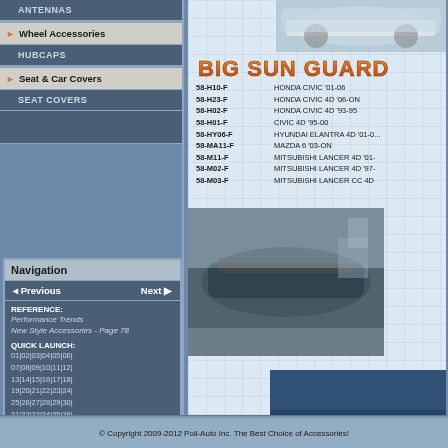ANTENNAS
Wheel Accessories
HUBCAPS
Seat & Car Covers
SEAT COVERS
Navigation
Previous   Next
REFERENCE:
Performance Trends
New Style Accessories - Page 78
QUICK LAUNCH:
01|02|03|04|05|06|
07|08|09|10|11|12|
13|14|15|16|17|18|
19|20|21|22|23|24|
25|26|27|28|29|30|
31|32|33|34|35|36|
37|38|39|40|41|42|
43|44|45|46|47|48|
49|50|51|52|53|54|
55|56|57|58|59|60|
61|62|63|64|65|66|
67|68|69|70|71|72|
73|74|75|76|77|78|
79|80|81|82|83|84|
85|86|87|88|89|90
[Figure (photo): White car photo at top right]
BIG SUN GUARD
| Code | Description |
| --- | --- |
| 58-H10-F | HONDA CIVIC '01-06 |
| 58-H23-F | HONDA CIVIC 4D '06-ON |
| 58-H02-F | HONDA CIVIC 4D '93-95 |
| 58-H01-F | CIVIC 4D '95-00 |
| 58-HY06-F | HYUNDAI ELANTRA 4D '01-0... |
| 58-MA11-F | MAZDA 6 '03-ON |
| 58-M11-F | MITSUBISHI LANCER 4D '01-... |
| 58-M02-F | MITSUBISHI LANCER 4D '97-... |
| 58-M03-F | MITSUBISHI LANCER CC 4D ... |
[Figure (photo): Dark car with sun guard installed, viewed from above at angle]
[Figure (photo): Blue car with sun guard, rear angle view]
© Copyright 2009-2012 Poli-Auto Inc. The Best Choice of Accessories!